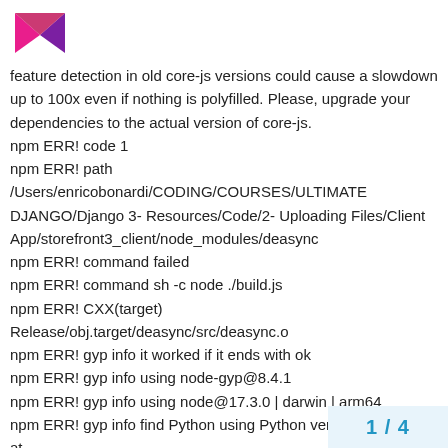[Figure (logo): Pink and purple angular logo mark resembling letter M or play button shape]
feature detection in old core-js versions could cause a slowdown up to 100x even if nothing is polyfilled. Please, upgrade your dependencies to the actual version of core-js.
npm ERR! code 1
npm ERR! path
/Users/enricobonardi/CODING/COURSES/ULTIMATE DJANGO/Django 3- Resources/Code/2- Uploading Files/Client App/storefront3_client/node_modules/deasync
npm ERR! command failed
npm ERR! command sh -c node ./build.js
npm ERR! CXX(target)
Release/obj.target/deasync/src/deasync.o
npm ERR! gyp info it worked if it ends with ok
npm ERR! gyp info using node-gyp@8.4.1
npm ERR! gyp info using node@17.3.0 | darwin | arm64
npm ERR! gyp info find Python using Python version 3.9.9 found at
"/Library/Frameworks/Python.framework/ython3"
1 / 4